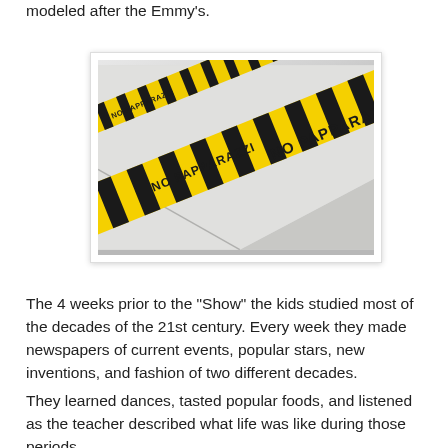modeled after the Emmy's.
[Figure (photo): Yellow and black caution tape with the text 'NO PAPPARAZZI' printed repeatedly, photographed diagonally against a light wall/floor background.]
The 4 weeks prior to the "Show" the kids studied most of the decades of the 21st century. Every week they made newspapers of current events, popular stars, new inventions, and fashion of two different decades.
They learned dances, tasted popular foods, and listened as the teacher described what life was like during those periods